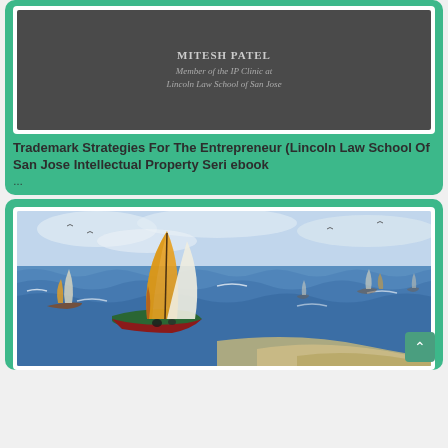[Figure (illustration): Book cover with dark gray background, author name MITESH PATEL and subtitle 'Member of the IP Clinic at Lincoln Law School of San Jose']
Trademark Strategies For The Entrepreneur (Lincoln Law School Of San Jose Intellectual Property Seri ebook
...
[Figure (illustration): Van Gogh painting of fishing boats on a rough sea with colorful sails (yellow, red, white) against a blue and white choppy sea and cloudy sky]